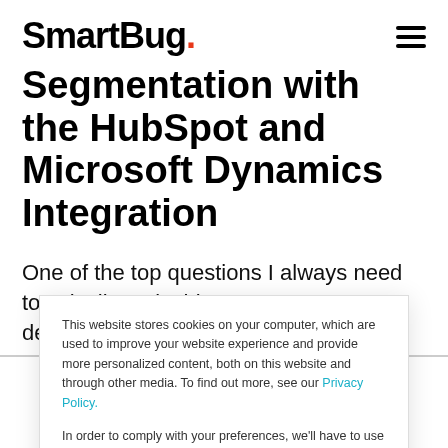SmartBug.
Segmentation with the HubSpot and Microsoft Dynamics Integration
One of the top questions I always need to ask clients is this: How are you determining
This website stores cookies on your computer, which are used to improve your website experience and provide more personalized content, both on this website and through other media. To find out more, see our Privacy Policy.

In order to comply with your preferences, we'll have to use just one tiny cookie so that you're not asked to make this choice again.